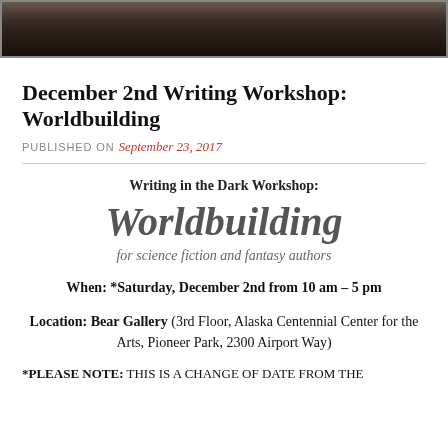[Figure (photo): Dark photographic strip at top of page showing a dimly lit outdoor or nature scene]
December 2nd Writing Workshop: Worldbuilding
PUBLISHED ON September 23, 2017
Writing in the Dark Workshop:
Worldbuilding
for science fiction and fantasy authors
When: *Saturday, December 2nd from 10 am – 5 pm
Location: Bear Gallery (3rd Floor, Alaska Centennial Center for the Arts, Pioneer Park, 2300 Airport Way)
*PLEASE NOTE: THIS IS A CHANGE OF DATE FROM THE